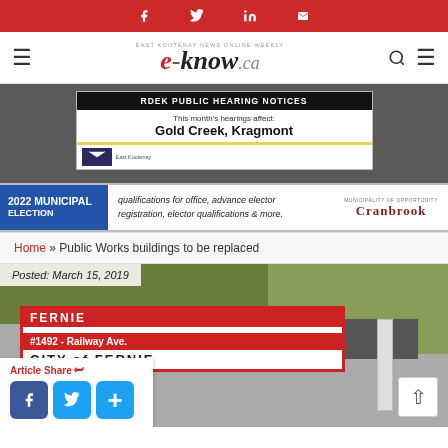Social sharing bar: Facebook, Twitter, LinkedIn, Email
e-know.ca — East Kootenay News Online Weekly
[Figure (infographic): RDEK Public Hearing Notices advertisement: This month's hearings affect: Gold Creek, Kragmont]
[Figure (infographic): 2022 Municipal Election ad — qualifications for office, advance elector registration, elector qualifications & more. Cranbrook]
Home » Public Works buildings to be replaced
Posted: March 15, 2019
[Figure (photo): Photo showing Fernie City Hall sign at #1492 - Railway Ave. with 'City of Fernie' text visible]
Article Share
Facebook, Twitter, Share buttons